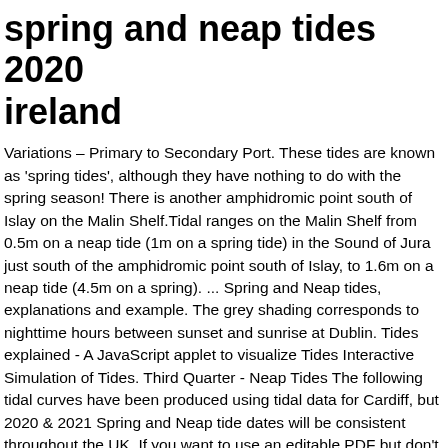spring and neap tides 2020 ireland
Variations – Primary to Secondary Port. These tides are known as 'spring tides', although they have nothing to do with the spring season! There is another amphidromic point south of Islay on the Malin Shelf.Tidal ranges on the Malin Shelf from 0.5m on a neap tide (1m on a spring tide) in the Sound of Jura just south of the amphidromic point south of Islay, to 1.6m on a neap tide (4.5m on a spring). ... Spring and Neap tides, explanations and example. The grey shading corresponds to nighttime hours between sunset and sunrise at Dublin. Tides explained - A JavaScript applet to visualize Tides Interactive Simulation of Tides. Third Quarter - Neap Tides The following tidal curves have been produced using tidal data for Cardiff, but 2020 & 2021 Spring and Neap tide dates will be consistent throughout the UK. If you want to use an editable PDF but don't have the software then you can use free websites like this to personalise your year planner. Simply enter your postal code to get tide times in your area for the next two years. The difference between spring and neap tides is that spring tides are much higher than normal and neap tides are lower than normal. Tides for